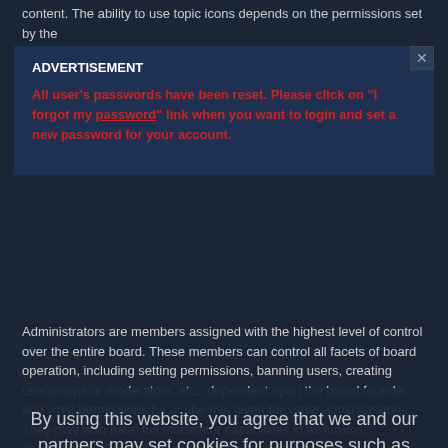content. The ability to use topic icons depends on the permissions set by the
[Figure (screenshot): Advertisement modal box with dark blue background. Shows 'ADVERTISEMENT' header in white bold text, followed by red bold text: 'All user's passwords have been reset. Please click on "I forgot my password" link when you want to login and set a new password for your account.' with 'password' underlined. Has a close button (×) in top right corner.]
Administrators are members assigned with the highest level of control over the entire board. These members can control all facets of board operation, including setting permissions, banning users, creating usergroups or moderators, etc., dependent upon the board founder and what permissions he or she has given the other administrators. They may also have full moderator capabilities in all forums, depending on the settings put forth by the board founder.
Top
What are Moderators?
Moderators are individuals (or groups of individuals) who look after the forums from day to day. They have the authority to edit or delete posts and lock, unlock, move, delete and split topics in the forum they moderate. Generally, moderators are present to prevent users from going off-topic or posting abusive or offensive material.
Top
By using this website, you agree that we and our partners may set cookies for purposes such as customising content and advertising.
Got it!
What are usergroups?
Usergroups are groups of users that divide the community into manageable sections